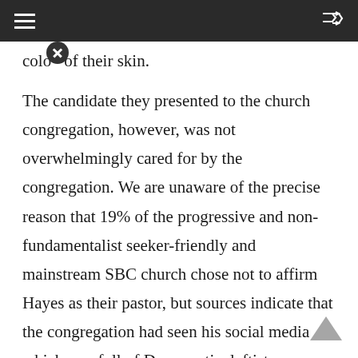≡  [shuffle icon]
color of their skin.
The candidate they presented to the church congregation, however, was not overwhelmingly cared for by the congregation. We are unaware of the precise reason that 19% of the progressive and non-fundamentalist seeker-friendly and mainstream SBC church chose not to affirm Hayes as their pastor, but sources indicate that the congregation had seen his social media which was full of Democratic, leftist, progressive, and 'woke' Social Justice sentiments. Understandably, a conservative